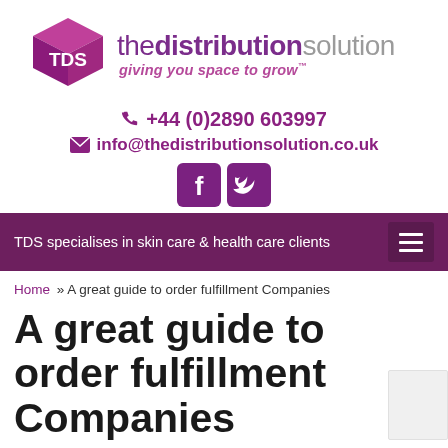[Figure (logo): TDS - The Distribution Solution logo with 3D cube graphic and tagline 'giving you space to grow™']
☎ +44 (0)2890 603997
✉ info@thedistributionsolution.co.uk
[Figure (other): Facebook and Twitter social media icons]
TDS specialises in skin care & health care clients
Home » A great guide to order fulfillment Companies
A great guide to order fulfillment Companies